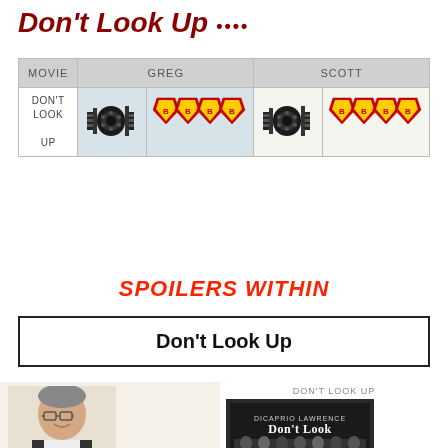Don't Look Up ••••
| MOVIE | GREG |  | SCOTT |  |
| --- | --- | --- | --- | --- |
| DON'T LOOK UP | [pixel reel icon] | [superhero pixel icon - 3.5 stars] | [pixel reel icon] | [superhero pixel icon - 3.5 stars] |
SPOILERS WITHIN
Don't Look Up
[Figure (photo): Photo of Dr. Scott Allison, a man with glasses and dark jacket]
(Dr. Scott Allison, Professor of
DON'T LOOK UP